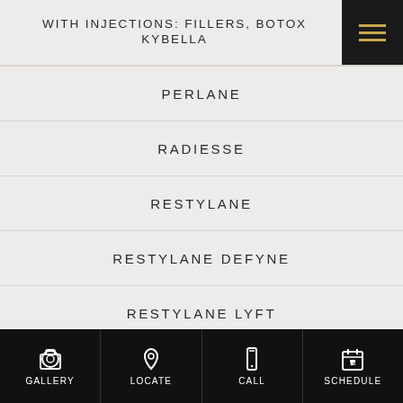WITH INJECTIONS: FILLERS, BOTOX KYBELLA
PERLANE
RADIESSE
RESTYLANE
RESTYLANE DEFYNE
RESTYLANE LYFT
RESTYLANE REFYNE
RESTYLANE SILK
GALLERY  LOCATE  CALL  SCHEDULE